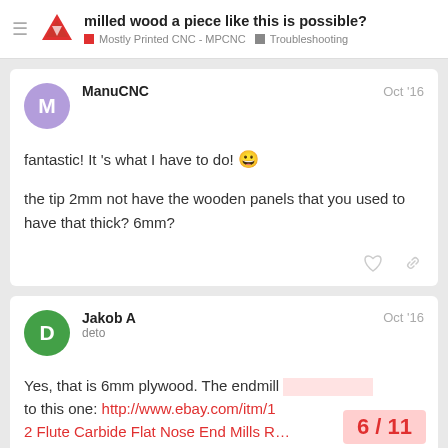milled wood a piece like this is possible? | Mostly Printed CNC - MPCNC | Troubleshooting
fantastic! It 's what I have to do! 😀
the tip 2mm not have the wooden panels that you used to have that thick? 6mm?
Yes, that is 6mm plywood. The endmill … to this one: http://www.ebay.com/itm/1… 2 Flute Carbide Flat Nose End Mills R…